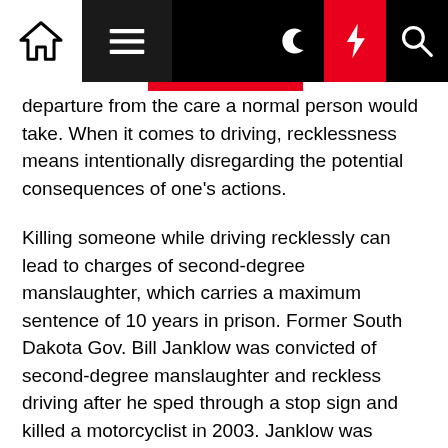[Navigation bar with home, menu, dark mode, lightning, and search icons]
departure from the care a normal person would take. When it comes to driving, recklessness means intentionally disregarding the potential consequences of one's actions.
Killing someone while driving recklessly can lead to charges of second-degree manslaughter, which carries a maximum sentence of 10 years in prison. Former South Dakota Gov. Bill Janklow was convicted of second-degree manslaughter and reckless driving after he sped through a stop sign and killed a motorcyclist in 2003. Janklow was sentenced to 100 days in jail.
But the Janklow case was more clear cut than the Ravensborg fatality, Rusch said. Rusch was one of the circuit judges who filled in for the state Supreme Court in acting as a panel to hear the case and determine...